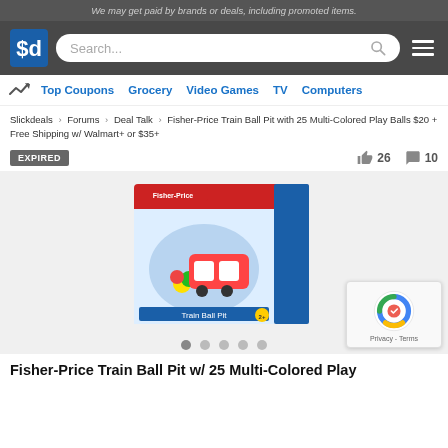We may get paid by brands or deals, including promoted items.
[Figure (logo): Slickdeals $d logo on dark header with search bar and hamburger menu]
Top Coupons  Grocery  Video Games  TV  Computers
Slickdeals > Forums > Deal Talk > Fisher-Price Train Ball Pit with 25 Multi-Colored Play Balls $20 + Free Shipping w/ Walmart+ or $35+
EXPIRED
26  10
[Figure (photo): Fisher-Price Train Ball Pit product box image]
Fisher-Price Train Ball Pit w/ 25 Multi-Colored Play